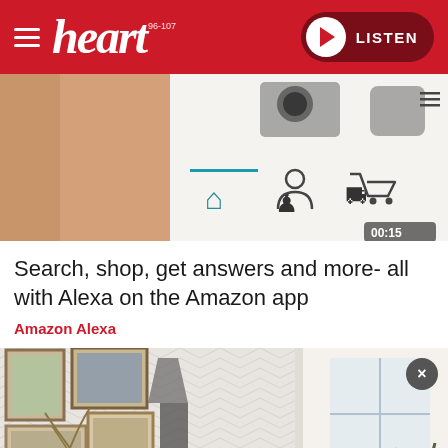[Figure (logo): Heart radio logo with hamburger menu and LISTEN button on red background header]
[Figure (screenshot): Video thumbnail showing Amazon app on a smartphone screen with home, account and cart icons visible. Timer shows 00:15]
Search, shop, get answers and more- all with Alexa on the Amazon app
Amazon Alexa
[Figure (photo): Interior room photo showing framed artwork on chevron wallpaper, a floor lamp, and sheer curtains by a window with plants]